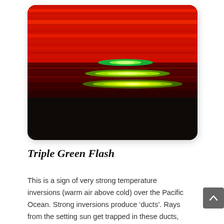[Figure (photo): Photograph of a Triple Green Flash phenomenon. The image shows horizontal bands of vivid red sky with three distinct glowing horizontal streaks of green and yellow-green light layered across the middle of the frame, against a dark ocean horizon at the bottom. The image has rounded corners.]
Triple Green Flash
This is a sign of very strong temperature inversions (warm air above cold) over the Pacific Ocean. Strong inversions produce ‘ducts’. Rays from the setting sun get trapped in these ducts, bouncing up and down and traveling long distances in layers sometimes only a few inches thick. A trio of ducts